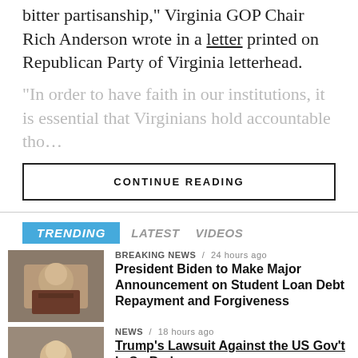that Dr. Sabato is demonstrating the rankest form of bitter partisanship," Virginia GOP Chair Rich Anderson wrote in a letter printed on Republican Party of Virginia letterhead.
"In order to have faith in our institutions, it is essential that Virginians hold accountable those…
CONTINUE READING
TRENDING  LATEST  VIDEOS
BREAKING NEWS / 24 hours ago
President Biden to Make Major Announcement on Student Loan Debt Repayment and Forgiveness
NEWS / 18 hours ago
Trump's Lawsuit Against the US Gov't Is So Bad…